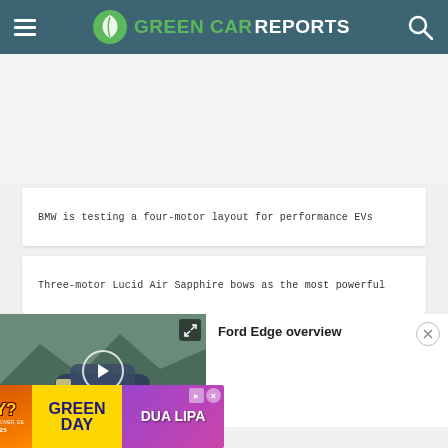Green Car Reports
BMW is testing a four-motor layout for performance EVs
Three-motor Lucid Air Sapphire bows as the most powerful
[Figure (screenshot): Ford Edge overview video player overlay with thumbnail showing a Ford SUV on a mountain road, play button, and expand icon]
[Figure (other): Advertisement for Firefly music festival featuring Green Day and Dua Lipa, September 22-25]